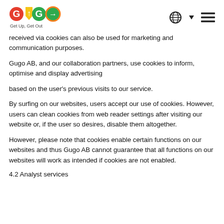Gugo AB — Get Up, Get Out — navigation logo and icons
received via cookies can also be used for marketing and communication purposes.
Gugo AB, and our collaboration partners, use cookies to inform, optimise and display advertising
based on the user's previous visits to our service.
By surfing on our websites, users accept our use of cookies. However, users can clean cookies from web reader settings after visiting our website or, if the user so desires, disable them altogether.
However, please note that cookies enable certain functions on our websites and thus Gugo AB cannot guarantee that all functions on our websites will work as intended if cookies are not enabled.
4.2 Analyst services